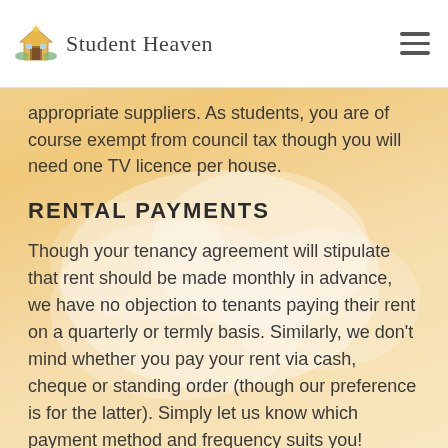Student Heaven
appropriate suppliers. As students, you are of course exempt from council tax though you will need one TV licence per house.
RENTAL PAYMENTS
Though your tenancy agreement will stipulate that rent should be made monthly in advance, we have no objection to tenants paying their rent on a quarterly or termly basis. Similarly, we don't mind whether you pay your rent via cash, cheque or standing order (though our preference is for the latter). Simply let us know which payment method and frequency suits you!